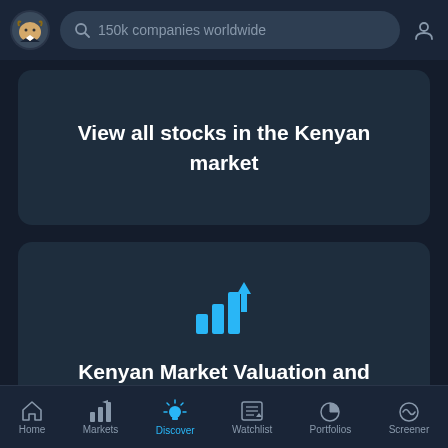150k companies worldwide
View all stocks in the Kenyan market
[Figure (infographic): Bar chart growth icon in cyan/blue — used as decorative icon for Kenyan Market Valuation card]
Kenyan Market Valuation and Analysis
[Figure (infographic): Light bulb icon in cyan — partially visible at bottom of screen, used for Discover section]
Home  Markets  Discover  Watchlist  Portfolios  Screener